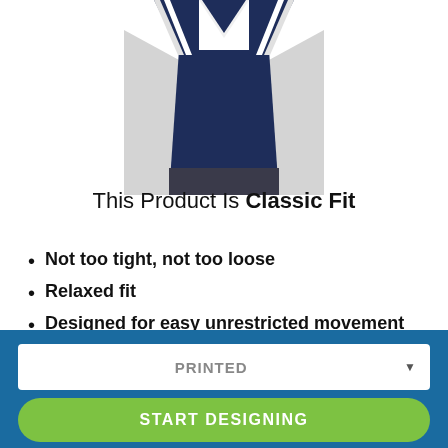[Figure (illustration): A navy blue classic fit football jersey with gray sleeves and white stripes on shoulders, shown from the front, cropped at the top of the page.]
This Product Is Classic Fit
Not too tight, not too loose
Relaxed fit
Designed for easy unrestricted movement
PRINTED
START DESIGNING